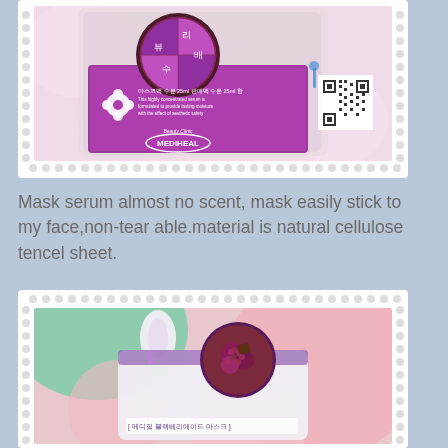[Figure (photo): Photo of a Mediheal face mask product package - back side, showing purple packaging with Korean text, a flower icon, ingredient information in English, and a QR code. The package is displayed against a light pink background, inside a decorative scalloped white frame.]
Mask serum almost no scent, mask easily stick to my face,non-tear able.material is natural cellulose tencel sheet.
[Figure (photo): Photo of a Mediheal face mask product package showing the front side with a bunny-shaped design, purple and white packaging with Korean text, and a circular image of raspberries/blackberries on top. The package is displayed against a colorful floral background, inside a decorative scalloped white frame.]